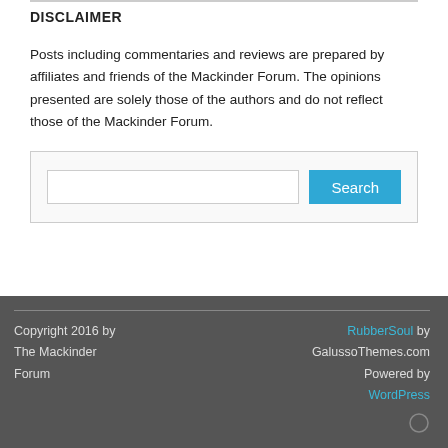DISCLAIMER
Posts including commentaries and reviews are prepared by affiliates and friends of the Mackinder Forum. The opinions presented are solely those of the authors and do not reflect those of the Mackinder Forum.
[Figure (other): Search box with text input and Search button]
Copyright 2016 by The Mackinder Forum | RubberSoul by GalussoThemes.com Powered by WordPress